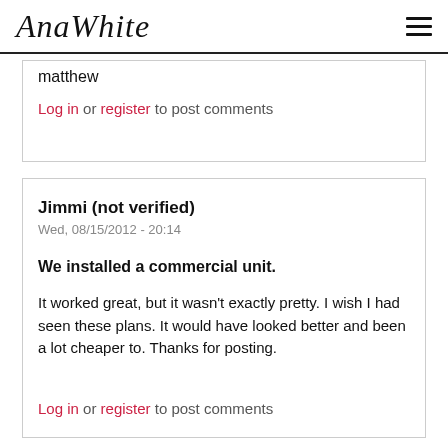AnaWhite [logo] [hamburger menu]
matthew
Log in or register to post comments
Jimmi (not verified)
Wed, 08/15/2012 - 20:14
We installed a commercial unit.
It worked great, but it wasn't exactly pretty. I wish I had seen these plans. It would have looked better and been a lot cheaper to. Thanks for posting.
Log in or register to post comments